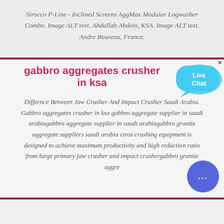Sirocco P-Line - Inclined Screens AggMax Modular Logwasher Combo. Image ALT text. Abdullah Abdein, KSA. Image ALT text. Andre Boureau, France.
gabbro aggregates crusher in ksa
Differnce Between Jaw Crusher And Impact Crusher Saudi Arabia. Gabbro aggregates crusher in ksa gabbro aggregate supplier in saudi arabiagabbro aggregate supplier in saudi arabiagabbro granite aggregate suppliers saudi arabia ciros crushing equipment is designed to achieve maximum productivity and high reduction ratio from large primary jaw crusher and impact crushergabbro granite aggre...